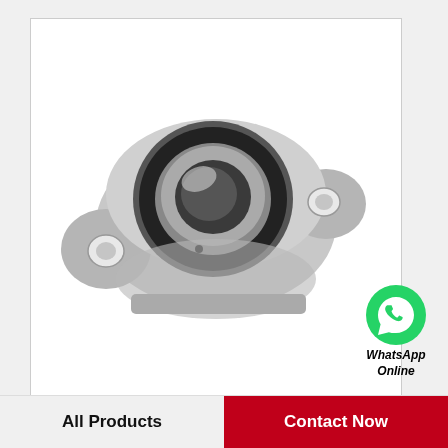[Figure (photo): A silver/aluminum flange block bearing (QM INDUSTRIES QVVFK17V075SEN) with a central cylindrical bore and two mounting holes on either side, photographed on a white background.]
[Figure (logo): WhatsApp green logo icon with text 'WhatsApp Online' in italic bold beneath it.]
QM INDUSTRIES QVVFK17V075SEN Flange Block Bearings
All Products
Contact Now